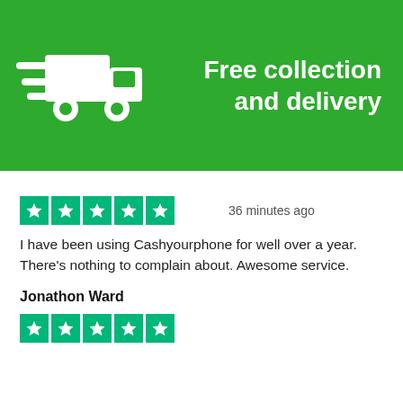[Figure (infographic): Green banner with a white speeding truck icon on the left and bold white text reading 'Free collection and delivery' on the right]
[Figure (infographic): Five green Trustpilot star rating boxes with white stars]
36 minutes ago
I have been using Cashyourphone for well over a year. There's nothing to complain about. Awesome service.
Jonathon Ward
[Figure (infographic): Five green Trustpilot star rating boxes with white stars (partial view at bottom)]